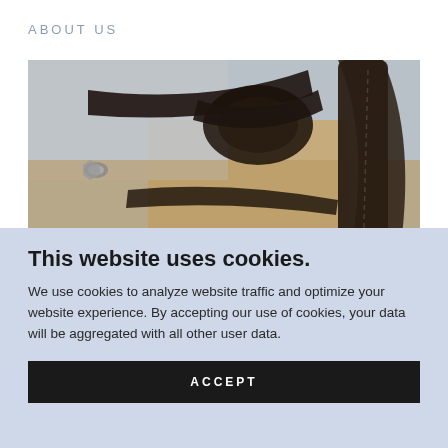ABOUT US
[Figure (photo): Close-up photo of dark leather horse tack/bridle equipment on a light fabric background, with partial text 'Mule' visible at the bottom left]
This website uses cookies.
We use cookies to analyze website traffic and optimize your website experience. By accepting our use of cookies, your data will be aggregated with all other user data.
ACCEPT